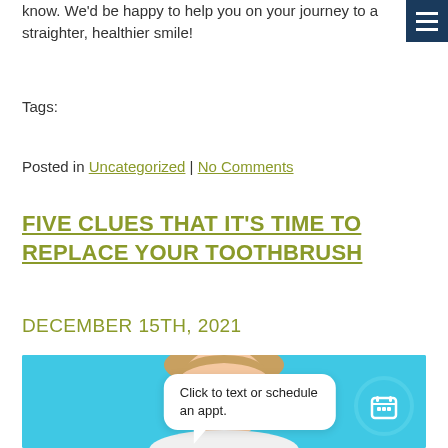know. We'd be happy to help you on your journey to a straighter, healthier smile!
Tags:
Posted in Uncategorized | No Comments
FIVE CLUES THAT IT'S TIME TO REPLACE YOUR TOOTHBRUSH
DECEMBER 15TH, 2021
[Figure (photo): Woman with blonde hair smiling against a light blue background, with a chat bubble overlay reading 'Click to text or schedule an appt.' and a teal calendar icon button.]